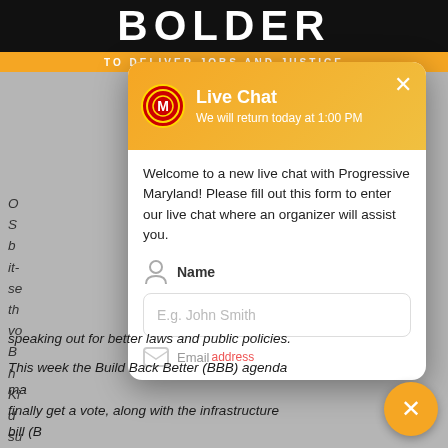[Figure (screenshot): Top black banner with large bold white text 'BOLDER' and orange subtitle banner below it]
C...
S...
b...
it-
se
th...
vo
B...
h...
K...
d...
su
co
speaking out for better laws and public policies.
[Figure (screenshot): Live Chat modal overlay with orange gradient header showing Progressive Maryland logo, 'Live Chat' title, 'We will return today at 1:00 PM' subtitle, close X button, welcome message, Name field with person icon, text input with placeholder 'E.g. John Smith', and partial email field row visible at bottom]
speaking out for better laws and public policies.
This week the Build Back Better (BBB) agenda may finally get a vote, along with the infrastructure bill (B... These budget proposals and policies in their final form will...
[Figure (other): Orange circular close/chat button with white X in bottom right corner]